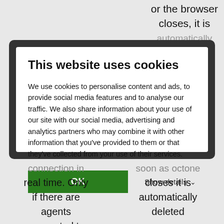or the browser closes, it is automatically
This website uses cookies
We use cookies to personalise content and ads, to provide social media features and to analyse our traffic. We also share information about your use of our site with our social media, advertising and analytics partners who may combine it with other information that you've provided to them or that they've collected from your use of their services.
OK
Show details
connection in real time. Only if there are agents connected to establish the connection.
soon as octone closes it is automatically deleted